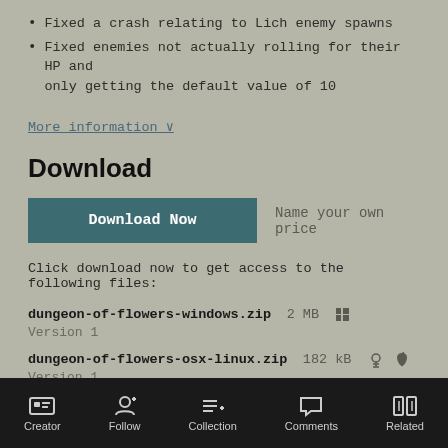Fixed a crash relating to Lich enemy spawns
Fixed enemies not actually rolling for their HP and only getting the default value of 10
More information ∨
Download
Download Now   Name your own price
Click download now to get access to the following files:
dungeon-of-flowers-windows.zip  2 MB  [windows icon]
Version 1
dungeon-of-flowers-osx-linux.zip  182 kB  [linux icon] [apple icon]
Version 1
Comments
Creator   Follow   Collection   Comments   Related